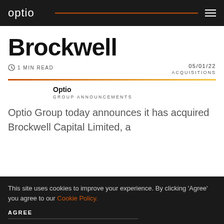optio
Brockwell
1 MIN READ
05/01/22
ACQUISITIONS
Optio
GROUP ANNOUNCEMENTS
Optio Group today announces it has acquired Brockwell Capital Limited, a
This site uses cookies to improve your experience. By clicking 'Agree' you agree to our Cookie Policy.
AGREE